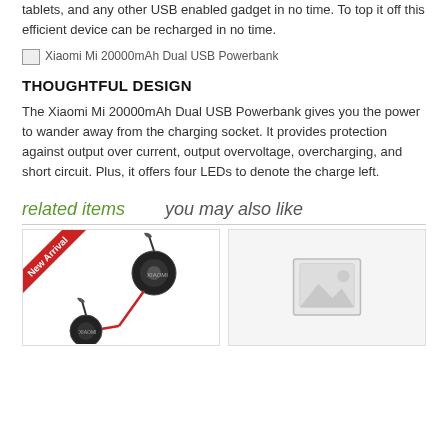tablets, and any other USB enabled gadget in no time. To top it off this efficient device can be recharged in no time.
[Figure (photo): Broken/missing image for Xiaomi Mi 20000mAh Dual USB Powerbank]
THOUGHTFUL DESIGN
The Xiaomi Mi 20000mAh Dual USB Powerbank gives you the power to wander away from the charging socket. It provides protection against output over current, output overvoltage, overcharging, and short circuit. Plus, it offers four LEDs to denote the charge left.
related items   you may also like
[Figure (photo): Earphones/headphones product image with New Arrival ribbon banner]
[Figure (photo): Placeholder image (no product image available)]